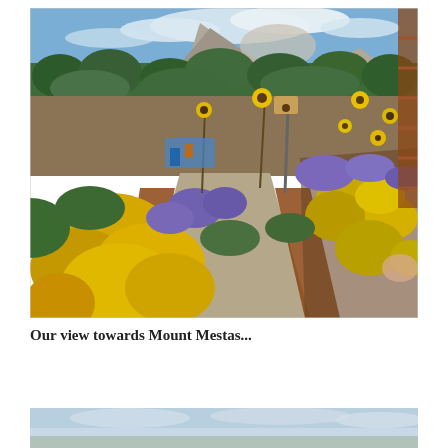[Figure (photo): A garden with yellow marigolds and purple salvia flowers in the foreground, a gravel path with brick edging, sunflowers on poles, a birdhouse on a post, green tree-covered hills in the middle ground, and a large rocky mountain (Mount Mestas) with clouds in the background. A wooden trellis is visible on the right side.]
Our view towards Mount Mestas...
[Figure (photo): Partial view of a landscape photo at the bottom of the page, showing sky with clouds and possibly distant terrain, cropped.]